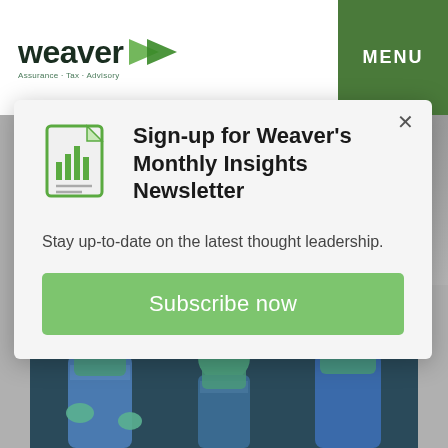[Figure (logo): Weaver logo with green arrow and tagline 'Assurance · Tax · Advisory']
MENU
Career Releases
Sign-up for Weaver's Monthly Insights Newsletter
Stay up-to-date on the latest thought leadership.
Subscribe now
[Figure (photo): Surgical team in operating room wearing blue scrubs and green surgical caps and masks]